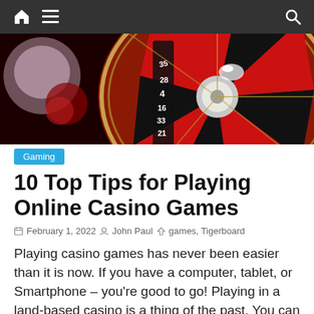Navigation bar with home, menu, and search icons
[Figure (photo): Close-up photo of a red and black roulette wheel showing numbers including 35, 28, 4, 16, 33, 21]
Gaming
10 Top Tips for Playing Online Casino Games
February 1, 2022  John Paul  games, Tigerboard
Playing casino games has never been easier than it is now. If you have a computer, tablet, or Smartphone – you're good to go! Playing in a land-based casino is a thing of the past. You can play all of your favorite games from the comfort of your